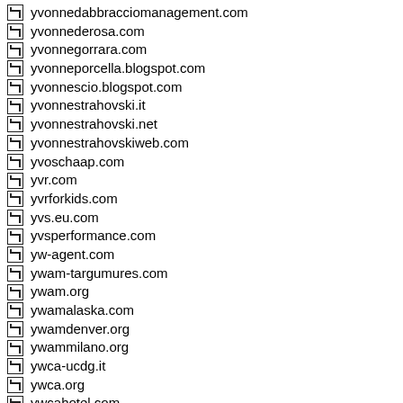yvonnedabbracciomanagement.com
yvonnederosa.com
yvonnegorrara.com
yvonneporcella.blogspot.com
yvonnescio.blogspot.com
yvonnestrahovski.it
yvonnestrahovski.net
yvonnestrahovskiweb.com
yvoschaap.com
yvr.com
yvrforkids.com
yvs.eu.com
yvsperformance.com
yw-agent.com
ywam-targumures.com
ywam.org
ywamalaska.com
ywamdenver.org
ywammilano.org
ywca-ucdg.it
ywca.org
ywcahotel.com